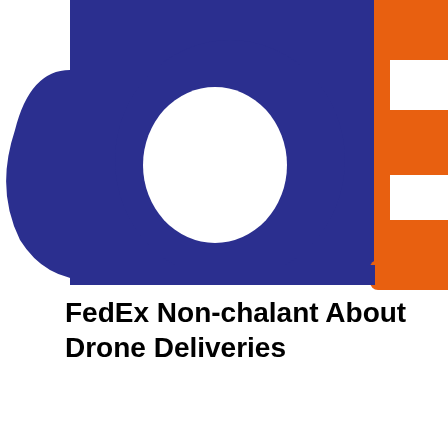[Figure (logo): FedEx logo closeup showing partial purple/blue letters 'd' and 'e' on white background, adjacent to an orange rectangle with white cutouts forming the letter 'E'. The FedEx logo colors are purple-blue (#3D1A8F / #2D2D8F) and orange (#E8610A).]
FedEx Non-chalant About Drone Deliveries